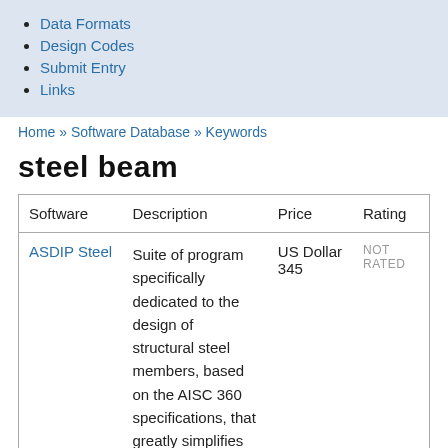Data Formats
Design Codes
Submit Entry
Links
Home » Software Database » Keywords
steel beam
| Software | Description | Price | Rating |
| --- | --- | --- | --- |
| ASDIP Steel | Suite of program specifically dedicated to the design of structural steel members, based on the AISC 360 specifications, that greatly simplifies the time-consuming calculations in any structural... | US Dollar 345 | NOT RATED |